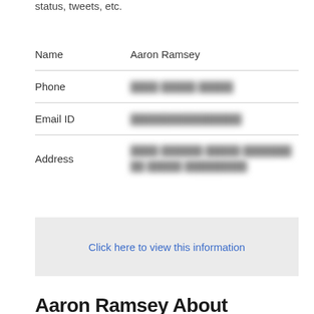status, tweets, etc.
| Field | Value |
| --- | --- |
| Name | Aaron Ramsey |
| Phone | [redacted] |
| Email ID | [redacted] |
| Address | [redacted] |
Click here to view this information
Aaron Ramsey About